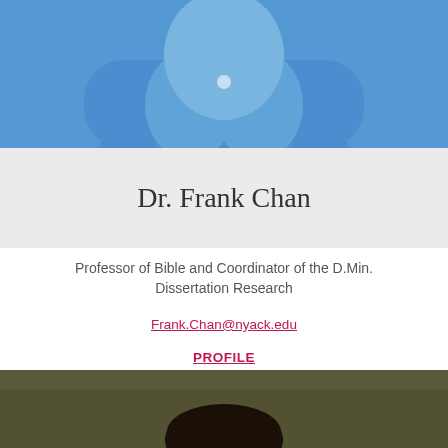[Figure (photo): Headshot photo of Dr. Frank Chan wearing a blue polo shirt, upper body visible]
Dr. Frank Chan
Professor of Bible and Coordinator of the D.Min. Dissertation Research
Frank.Chan@nyack.edu
PROFILE
[Figure (photo): Headshot photo of another person against a dark olive/brown background, dark hair visible]